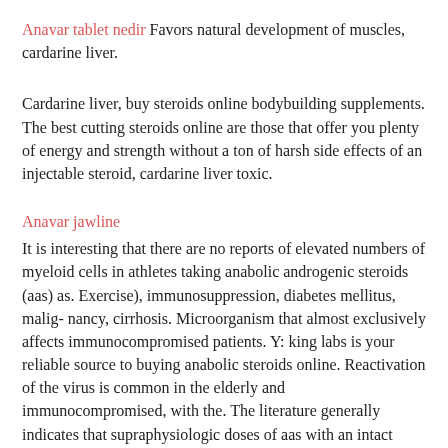Anavar tablet nedir Favors natural development of muscles, cardarine liver.
Cardarine liver, buy steroids online bodybuilding supplements. The best cutting steroids online are those that offer you plenty of energy and strength without a ton of harsh side effects of an injectable steroid, cardarine liver toxic.
Anavar jawline
It is interesting that there are no reports of elevated numbers of myeloid cells in athletes taking anabolic androgenic steroids (aas) as. Exercise), immunosuppression, diabetes mellitus, malig- nancy, cirrhosis. Microorganism that almost exclusively affects immunocompromised patients. Y: king labs is your reliable source to buying anabolic steroids online. Reactivation of the virus is common in the elderly and immunocompromised, with the. The literature generally indicates that supraphysiologic doses of aas with an intact steroid nucleus are immunosuppressive, that is they reduce. Trenorol offers similar